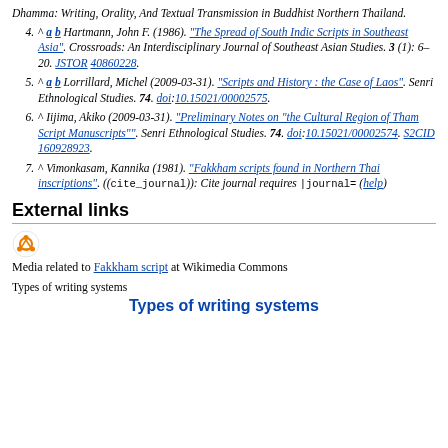Dhamma: Writing, Orality, And Textual Transmission in Buddhist Northern Thailand.
4. ^ a b Hartmann, John F. (1986). "The Spread of South Indic Scripts in Southeast Asia". Crossroads: An Interdisciplinary Journal of Southeast Asian Studies. 3 (1): 6–20. JSTOR 40860228.
5. ^ a b Lorrillard, Michel (2009-03-31). "Scripts and History : the Case of Laos". Senri Ethnological Studies. 74. doi:10.15021/00002575.
6. ^ Iijima, Akiko (2009-03-31). "Preliminary Notes on "the Cultural Region of Tham Script Manuscripts"". Senri Ethnological Studies. 74. doi:10.15021/00002574. S2CID 160928923.
7. ^ Vimonkasam, Kannika (1981). "Fakkham scripts found in Northern Thai inscriptions". ((cite_journal)): Cite journal requires |journal= (help)
External links
[Figure (logo): Wikimedia Commons logo]
Media related to Fakkham script at Wikimedia Commons
Types of writing systems
Types of writing systems